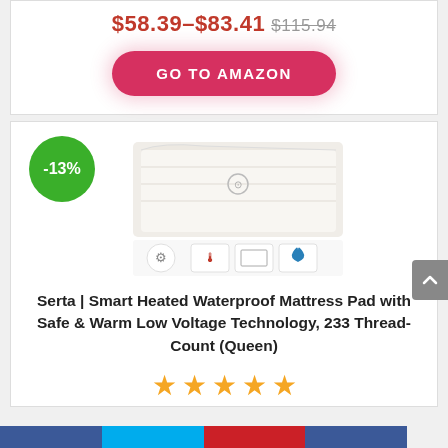$58.39–$83.41 $115.94
GO TO AMAZON
[Figure (photo): Serta Smart Heated Waterproof Mattress Pad product photo with feature icons]
-13%
Serta | Smart Heated Waterproof Mattress Pad with Safe & Warm Low Voltage Technology, 233 Thread-Count (Queen)
[Figure (other): 4.5 star rating shown with 5 gold stars (partial last star)]